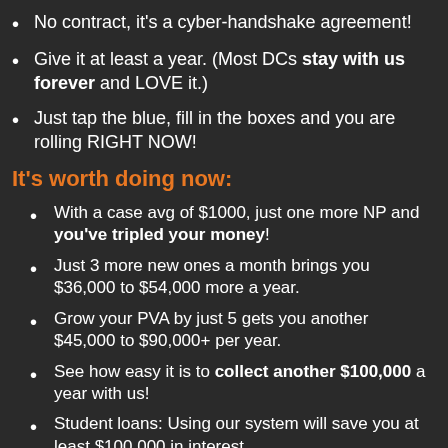No contract, it's a cyber-handshake agreement!
Give it at least a year. (Most DCs stay with us forever and LOVE it.)
Just tap the blue, fill in the boxes and you are rolling RIGHT NOW!
It's worth doing now:
With a case avg of $1000, just one more NP and you've tripled your money!
Just 3 more new ones a month brings you $36,000 to $54,000 more a year.
Grow your PVA by just 5 gets you another $45,000 to $90,000+ per year.
See how easy it is to collect another $100,000 a year with us!
Student loans: Using our system will save you at least $100,000 in interest.